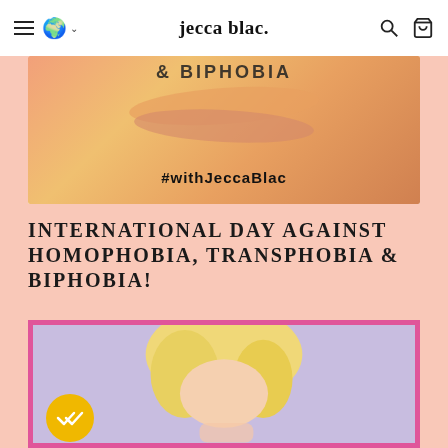jecca blac.
[Figure (photo): Cropped banner image with orange/pink brush stroke and text '#withJeccaBlac' and partial text '& BIPHOBIA' visible at top]
INTERNATIONAL DAY AGAINST HOMOPHOBIA, TRANSPHOBIA & BIPHOBIA!
[Figure (photo): Portrait photo of a person with blonde hair against a purple/lavender background, framed with a hot pink border. A yellow circular badge with double-check icon is visible in the lower left.]